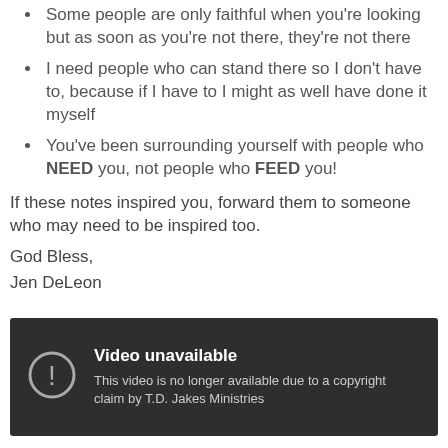Some people are only faithful when you're looking but as soon as you're not there, they're not there
I need people who can stand there so I don't have to, because if I have to I might as well have done it myself
You've been surrounding yourself with people who NEED you, not people who FEED you!
If these notes inspired you, forward them to someone who may need to be inspired too.
God Bless,
Jen DeLeon
[Figure (screenshot): YouTube video unavailable screen with dark background. Shows a circular exclamation icon and text: 'Video unavailable. This video is no longer available due to a copyright claim by T.D. Jakes Ministries']